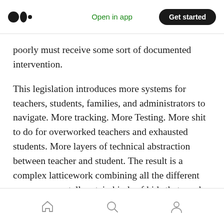Medium logo | Open in app | Get started
poorly must receive some sort of documented intervention.
This legislation introduces more systems for teachers, students, families, and administrators to navigate. More tracking. More Testing. More shit to do for overworked teachers and exhausted students. More layers of technical abstraction between teacher and student. The result is a complex latticework combining all the different ways you can tell certain kinds of kids that maybe school just isn’t for them.
Home | Search | Profile